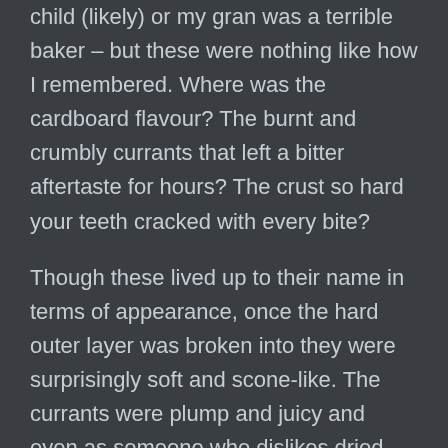child (likely) or my gran was a terrible baker – but these were nothing like how I remembered. Where was the cardboard flavour? The burnt and crumbly currants that left a bitter aftertaste for hours? The crust so hard your teeth cracked with every bite?
Though these lived up to their name in terms of appearance, once the hard outer layer was broken into they were surprisingly soft and scone-like. The currants were plump and juicy and even as someone who dislikes dried fruit in cakes I found I didn't mind them here. In fact, they were kind of necessary because they added a moistness that stopped the rock buns from becoming too dry.